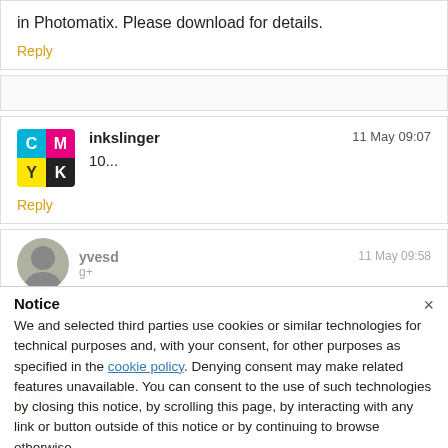in Photomatix. Please download for details.
Reply
inkslinger    11 May 09:07    10...    Reply
yvesd    11 May 09:58
Notice
We and selected third parties use cookies or similar technologies for technical purposes and, with your consent, for other purposes as specified in the cookie policy. Denying consent may make related features unavailable. You can consent to the use of such technologies by closing this notice, by scrolling this page, by interacting with any link or button outside of this notice or by continuing to browse otherwise.
rcuello    11 May 10:48    I love the colors and the process.